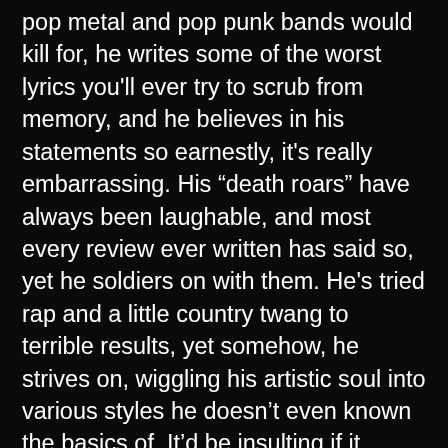pop metal and pop punk bands would kill for, he writes some of the worst lyrics you'll ever try to scrub from memory, and he believes in his statements so earnestly, it's really embarrassing. His “death roars” have always been laughable, and most every review ever written has said so, yet he soldiers on with them. He's tried rap and a little country twang to terrible results, yet somehow, he strives on, wiggling his artistic soul into various styles he doesn’t even known the basics of. It’d be insulting if it wasn’t so, ya know, clueless. I feel bad for him most of the time. Then again, he feels so sorry for himself, I probably shouldn’t even bother. He feels so misunderstood and martyred, so under-appreciated and under intense scrutiny, with so many mean people lashing out at him at every turn, I really hate to tell him he really doesn’t matter much in the big picture, and most of